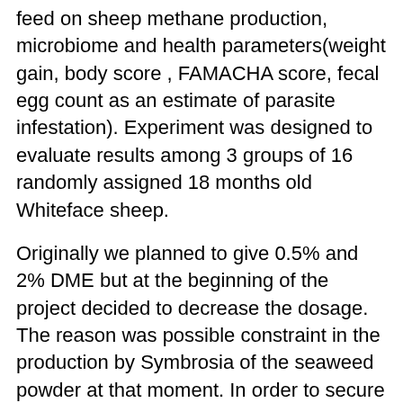feed on sheep methane production, microbiome and health parameters(weight gain, body score , FAMACHA score, fecal egg count as an estimate of parasite infestation). Experiment was designed to evaluate results among 3 groups of 16 randomly assigned 18 months old Whiteface sheep.
Originally we planned to give 0.5% and 2% DME but at the beginning of the project decided to decrease the dosage. The reason was possible constraint in the production by Symbrosia of the seaweed powder at that moment. In order to secure a sufficient amount of the seaweed for the duration of the project, we reduced the amount we would use.  So the animals actually were given 0.25% and 1% for low and high supplementation groups respectively.
We used FAMACHA score and fecal egg count to evaluate parasite infestation of the treatment groups sheep and compared them with the control. FAMACHA is a clinical score of the level blood sucking parasites infestation correlating